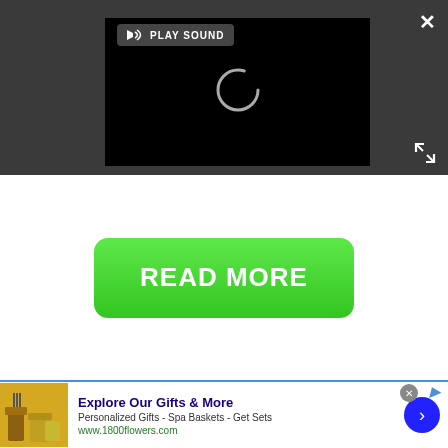[Figure (screenshot): Video player with black screen and loading spinner, PLAY SOUND button, close X button, and expand icon, on dark gray background]
[Figure (screenshot): Green READ MORE button on white background]
[Figure (screenshot): Advertisement banner: Explore Our Gifts & More, Personalized Gifts - Spa Baskets - Get Sets, www.1800flowers.com, with product image and blue arrow button]